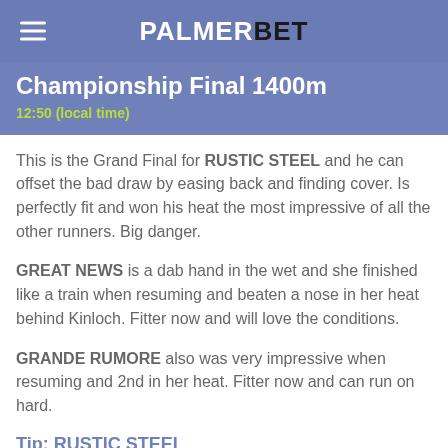PALMERBET
Championship Final 1400m
12:50 (local time)
This is the Grand Final for RUSTIC STEEL and he can offset the bad draw by easing back and finding cover. Is perfectly fit and won his heat the most impressive of all the other runners. Big danger.
GREAT NEWS is a dab hand in the wet and she finished like a train when resuming and beaten a nose in her heat behind Kinloch. Fitter now and will love the conditions.
GRANDE RUMORE also was very impressive when resuming and 2nd in her heat. Fitter now and can run on hard.
Tip: RUSTIC STEEL